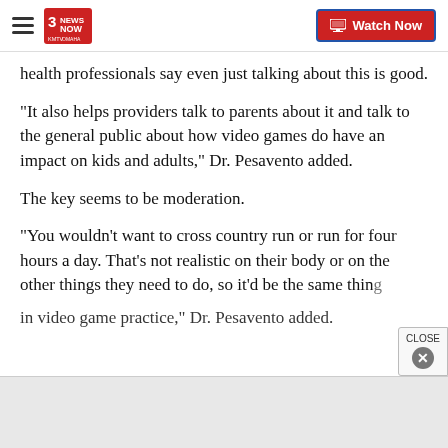3 News Now KMTV Omaha | Watch Now
health professionals say even just talking about this is good.
"It also helps providers talk to parents about it and talk to the general public about how video games do have an impact on kids and adults," Dr. Pesavento added.
The key seems to be moderation.
"You wouldn't want to cross country run or run for four hours a day. That's not realistic on their body or on the other things they need to do, so it'd be the same thing in video game practice," Dr. Pesavento added.